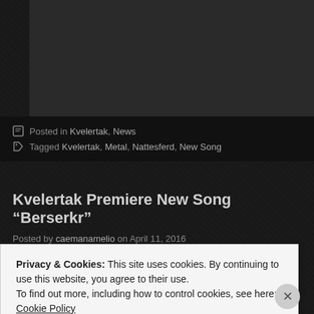[Figure (screenshot): Dark themed webpage background with diagonal cross-hatch pattern. A lighter dark rectangle represents an embedded media/image area in the upper portion.]
Posted in Kvelertak, News
Tagged Kvelertak, Metal, Nattesferd, New Song
Kvelertak Premiere New Song “Berserkr”
Posted by caemanamelio on April 11, 2016
Privacy & Cookies: This site uses cookies. By continuing to use this website, you agree to their use.
To find out more, including how to control cookies, see here: Cookie Policy
Close and accept